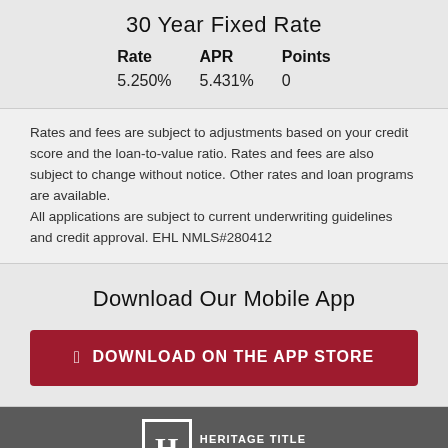30 Year Fixed Rate
| Rate | APR | Points |
| --- | --- | --- |
| 5.250% | 5.431% | 0 |
Rates and fees are subject to adjustments based on your credit score and the loan-to-value ratio. Rates and fees are also subject to change without notice. Other rates and loan programs are available. All applications are subject to current underwriting guidelines and credit approval. EHL NMLS#280412
Download Our Mobile App
[Figure (other): Download on the App Store button with Apple logo]
[Figure (logo): Heritage Title Services, Inc. logo with H in box]